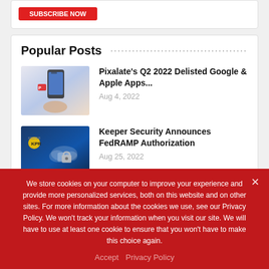[Figure (other): Red button partially visible at top of page]
Popular Posts
[Figure (photo): Hand holding smartphone with Pixalate app interface visible]
Pixalate's Q2 2022 Delisted Google & Apple Apps...
Aug 4, 2022
[Figure (photo): Keeper Security logo with cloud and padlock on dark blue background]
Keeper Security Announces FedRAMP Authorization
Aug 25, 2022
We store cookies on your computer to improve your experience and provide more personalized services, both on this website and on other sites. For more information about the cookies we use, see our Privacy Policy. We won't track your information when you visit our site. We will have to use at least one cookie to ensure that you won't have to make this choice again.
Accept   Privacy Policy